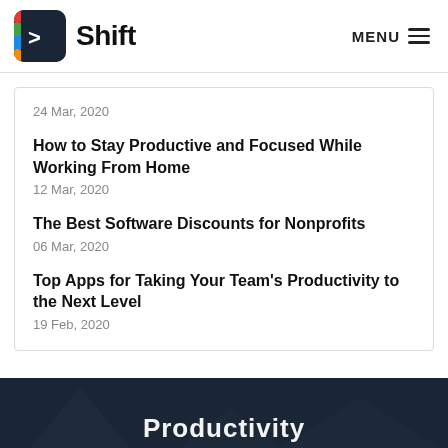Shift — MENU
24 Mar, 2020
How to Stay Productive and Focused While Working From Home
12 Mar, 2020
The Best Software Discounts for Nonprofits
06 Mar, 2020
Top Apps for Taking Your Team's Productivity to the Next Level
19 Feb, 2020
Productivity